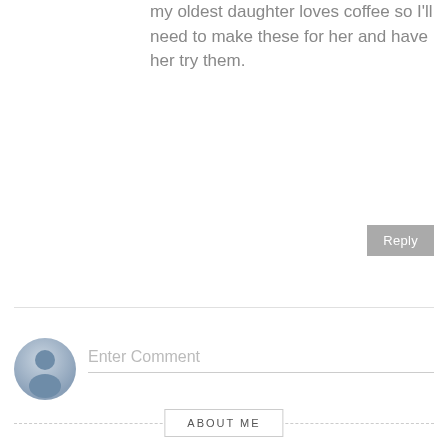my oldest daughter loves coffee so I'll need to make these for her and have her try them.
Reply
[Figure (illustration): User avatar placeholder icon — a gray circle with a generic person silhouette]
Enter Comment
ABOUT ME